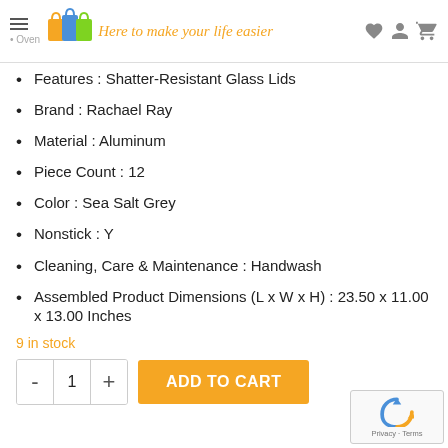Here to make your life easier
Features : Shatter-Resistant Glass Lids
Brand : Rachael Ray
Material : Aluminum
Piece Count : 12
Color : Sea Salt Grey
Nonstick : Y
Cleaning, Care & Maintenance : Handwash
Assembled Product Dimensions (L x W x H) : 23.50 x 11.00 x 13.00 Inches
9 in stock